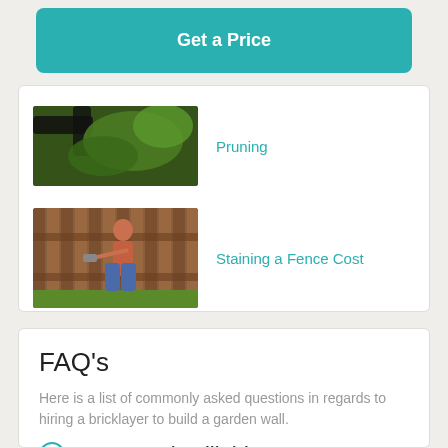Get a Price
[Figure (photo): Partial view of a tree with dark branches and green leaves (Pruning article thumbnail)]
Pruning
[Figure (photo): Woman staining a wooden fence with a tool, outdoors with green grass (Staining a Fence Cost article thumbnail)]
Staining a Fence Cost
FAQ's
Here is a list of commonly asked questions in regards to hiring a bricklayer to build a garden wall.
How much will this cost?